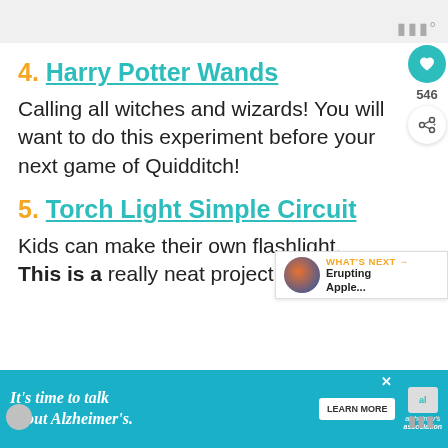4. Harry Potter Wands
Calling all witches and wizards! You will want to do this experiment before your next game of Quidditch!
5. Torch Light Simple Circuit
Kids can make their own flashlight. This is a really neat project.
[Figure (screenshot): Advertisement banner: It's time to talk about Alzheimer's. with Learn More button and Alzheimer's Association logo]